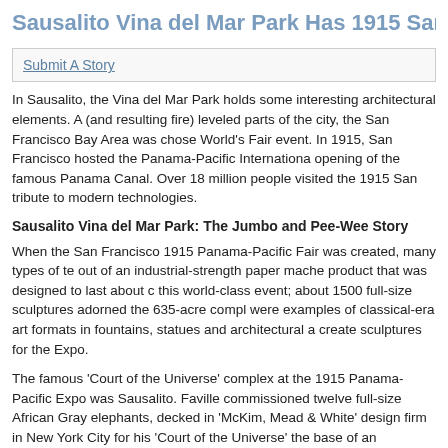Sausalito Vina del Mar Park Has 1915 San Fr
Submit A Story
In Sausalito, the Vina del Mar Park holds some interesting architectural elements. A (and resulting fire) leveled parts of the city, the San Francisco Bay Area was chose World's Fair event. In 1915, San Francisco hosted the Panama-Pacific Internationa opening of the famous Panama Canal. Over 18 million people visited the 1915 San tribute to modern technologies.
Sausalito Vina del Mar Park: The Jumbo and Pee-Wee Story
When the San Francisco 1915 Panama-Pacific Fair was created, many types of te out of an industrial-strength paper mache product that was designed to last about c this world-class event; about 1500 full-size sculptures adorned the 635-acre compl were examples of classical-era art formats in fountains, statues and architectural a create sculptures for the Expo.
The famous ‘Court of the Universe’ complex at the 1915 Panama-Pacific Expo was Sausalito. Faville commissioned twelve full-size African Gray elephants, decked in ‘McKim, Mead & White’ design firm in New York City for his ‘Court of the Universe’ the base of an elaborate 100-foot-tall flagpole around the outer edges of his full-siz in regal style.
In 1915, the harmonizing of all elaborately decorated Expo buildings was achieved flagpoles were painted in a pinkish-orange tone to properly stand-out during foggy painted in lavish gold tones with antique greens and deep blues used heavily in ac